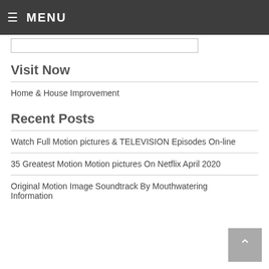≡ MENU
Visit Now
Home & House Improvement
Recent Posts
Watch Full Motion pictures & TELEVISION Episodes On-line
35 Greatest Motion Motion pictures On Netflix April 2020
Original Motion Image Soundtrack By Mouthwatering Information